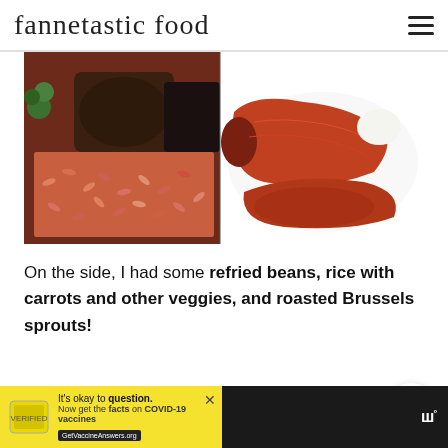fannetastic food
[Figure (photo): Two food images side by side: left shows red/pink rice with refried beans and green vegetables; right shows enchiladas covered in red sauce on a white plate.]
On the side, I had some refried beans, rice with carrots and other veggies, and roasted Brussels sprouts!
[Figure (other): Gray placeholder content box]
[Figure (other): Advertisement banner: It's okay to question. Now get the facts on COVID-19 vaccines. GetVaccineAnswers.org]